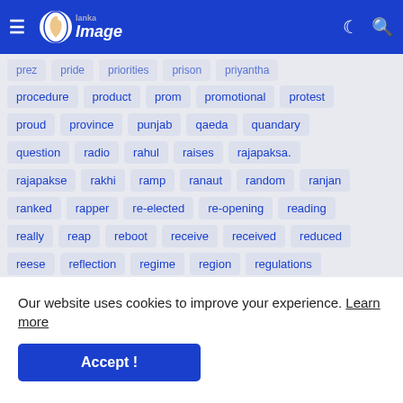Lanka Image - navigation bar with menu, logo, dark mode and search icons
prez, pride, priorities, prison, priyantha, procedure, product, prom, promotional, protest, proud, province, punjab, qaeda, quandary, question, radio, rahul, raises, rajapaksa., rajapakse, rakhi, ramp, ranaut, random, ranjan, ranked, rapper, re-elected, re-opening, reading, really, reap, reboot, receive, received, reduced, reese, reflection, regime, region, regulations
Our website uses cookies to improve your experience. Learn more
Accept !